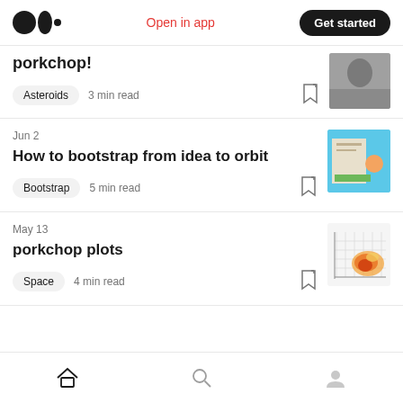Medium logo | Open in app | Get started
porkchop!
Asteroids  3 min read
Jun 2
How to bootstrap from idea to orbit
Bootstrap  5 min read
May 13
porkchop plots
Space  4 min read
Home | Search | Profile